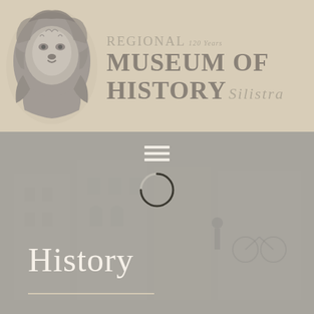[Figure (logo): Regional Museum of History Silistra logo — lion head illustration in grey on beige background with museum name text]
[Figure (screenshot): Website screenshot showing grey navigation area with hamburger menu icon, loading spinner ring, and old faded historical photograph of a building in background. 'History' page title text in white at bottom left.]
History